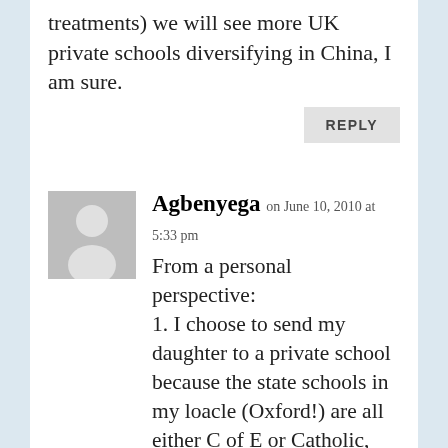treatments) we will see more UK private schools diversifying in China, I am sure.
REPLY
Agbenyega on June 10, 2010 at 5:33 pm
[Figure (illustration): Generic user avatar placeholder - grey silhouette figure on grey background]
From a personal perspective:
1. I choose to send my daughter to a private school because the state schools in my loacle (Oxford!) are all either C of E or Catholic, and I am a committed aetheist.
2. The features next to